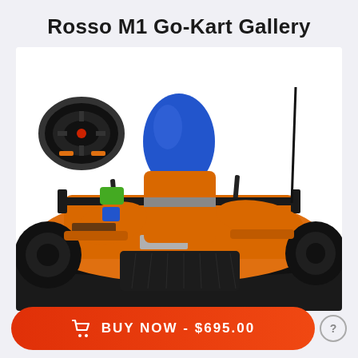Rosso M1 Go-Kart Gallery
[Figure (photo): Close-up photo of a Rosso M1 go-kart showing the blue and orange seat/headrest, black steering wheel, orange body panels, rear spoiler wing, and black wheels. The go-kart has a racing design with blue and orange color scheme.]
BUY NOW - $695.00